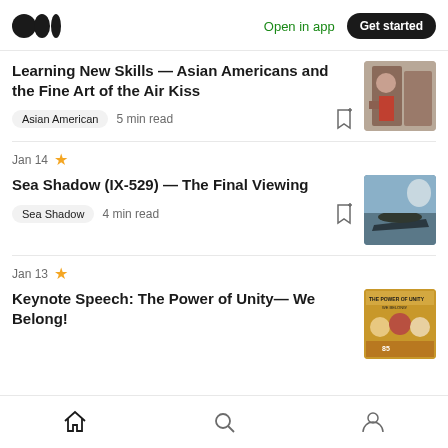Medium logo | Open in app | Get started
Learning New Skills — Asian Americans and the Fine Art of the Air Kiss
Asian American  5 min read
Jan 14  ★
Sea Shadow (IX-529) — The Final Viewing
Sea Shadow  4 min read
Jan 13  ★
Keynote Speech: The Power of Unity— We Belong!
Home  Search  Profile